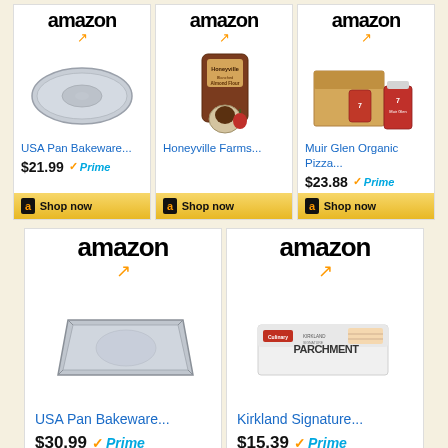[Figure (screenshot): Amazon product listing grid showing 5 products: USA Pan Bakeware ($21.99 Prime), Honeyville Farms Almond Flour, Muir Glen Organic Pizza ($23.88 Prime), USA Pan Bakeware ($30.99 Prime), Kirkland Signature Parchment ($15.39 Prime)]